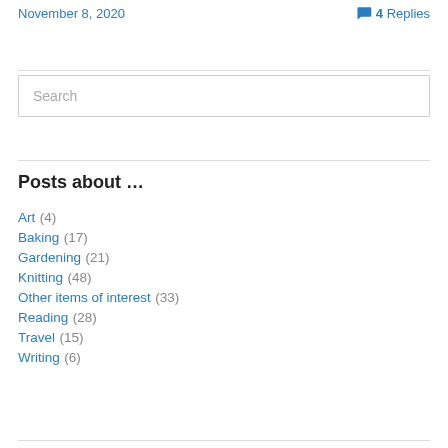November 8, 2020
4 Replies
Search
Posts about …
Art (4)
Baking (17)
Gardening (21)
Knitting (48)
Other items of interest (33)
Reading (28)
Travel (15)
Writing (6)